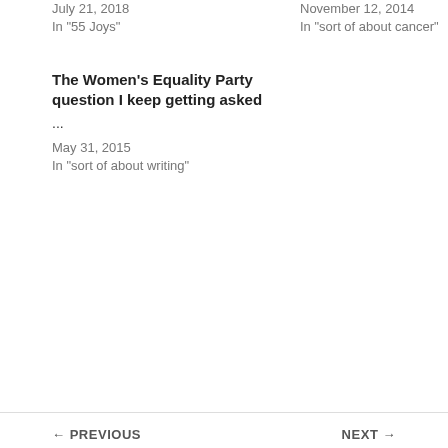July 21, 2018
In "55 Joys"
November 12, 2014
In "sort of about cancer"
The Women's Equality Party question I keep getting asked
...
May 31, 2015
In "sort of about writing"
[Figure (photo): Purple author card with circular portrait photo of Stella Duffy (blonde woman smiling) and text about the author]
Published by Stella Duffy
Existential Psychotherapist in training View all posts by Stella Duffy
← PREVIOUS    NEXT →